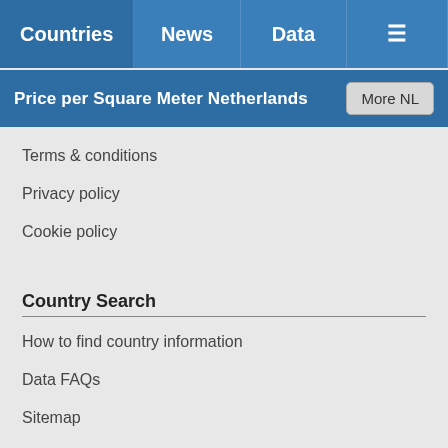Countries | News | Data | ☰
Price per Square Meter Netherlands
Terms & conditions
Privacy policy
Cookie policy
Country Search
How to find country information
Data FAQs
Sitemap
For Contributors